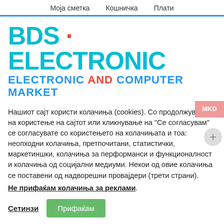Моја сметка   Кошничка   Плати
[Figure (logo): BDS Electronic logo: large cyan bold text 'BDS · ELECTRONIC' with red dot, subtitle 'ELECTRONIC AND COMPUTER MARKET' in blue with red 'AND']
Нашиот сајт користи колачиња (cookies). Со продолжување на користење на сајтот или кликнување на "Се согласувам" се согласувате со користењето на колачињата и тоа: неопходни колачиња, претпочитани, статистички, маркетиншки, колачиња за перформанси и функционалност и колачиња од социјални медиуми. Некои од овие колачиња се поставени од надворешни провајдери (трети страни).
Не прифаќам колачиња за реклами.
Сетинзи
Прифаќам